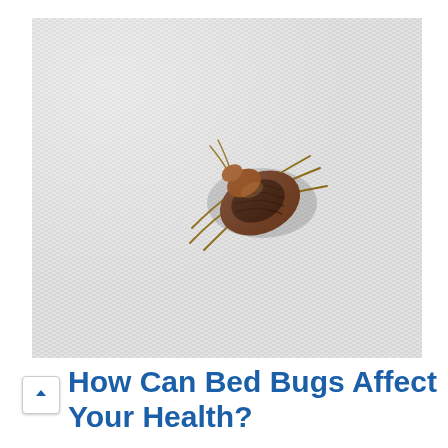[Figure (photo): Close-up macro photograph of a bed bug (Cimex lectularius) crawling on white fabric/textile material. The bug is brown with a segmented oval body and six legs visible.]
How Can Bed Bugs Affect Your Health?